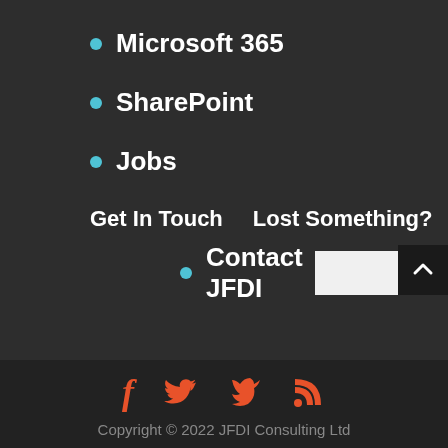Microsoft 365
SharePoint
Jobs
Get In Touch
Lost Something?
Contact JFDI
[Figure (screenshot): Search input box with 'Search' button]
[Figure (other): Scroll to top button with caret/arrow up icon]
[Figure (other): Social media icons: Facebook (f), Twitter (bird), RSS feed]
Copyright © 2022 JFDI Consulting Ltd